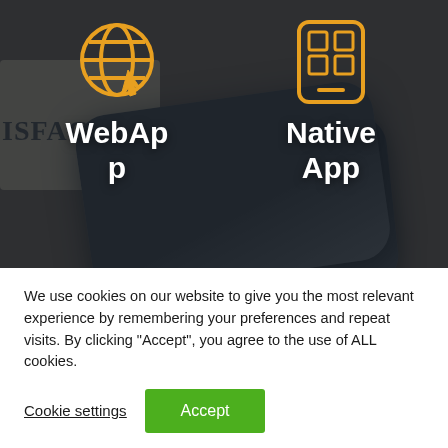[Figure (screenshot): Dark-overlay photo of a smartphone on a brown surface with a newspaper partially visible. Two orange icons appear at top: a globe/web icon and a mobile/app icon. Below each icon is white bold text reading 'WebApp' and 'Native App' respectively.]
We use cookies on our website to give you the most relevant experience by remembering your preferences and repeat visits. By clicking "Accept", you agree to the use of ALL cookies.
Cookie settings
Accept